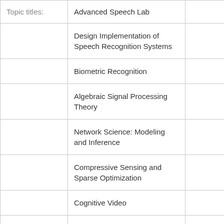| Topic titles: |  |  |  |
| --- | --- | --- | --- |
| Topic titles: | Advanced Speech Lab |  |  |
|  | Design Implementation of Speech Recognition Systems |  |  |
|  | Biometric Recognition |  |  |
|  | Algebraic Signal Processing Theory |  |  |
|  | Network Science: Modeling and Inference |  |  |
|  | Compressive Sensing and Sparse Optimization |  |  |
|  | Cognitive Video |  |  |
|  | Advanced Machine Learning |  |  |